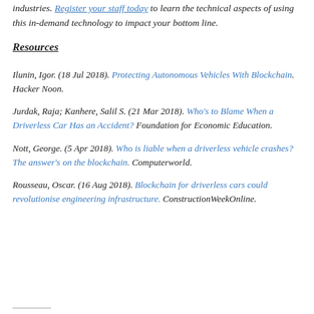industries. Register your staff today to learn the technical aspects of using this in-demand technology to impact your bottom line.
Resources
Ilunin, Igor. (18 Jul 2018). Protecting Autonomous Vehicles With Blockchain. Hacker Noon.
Jurdak, Raja; Kanhere, Salil S. (21 Mar 2018). Who's to Blame When a Driverless Car Has an Accident? Foundation for Economic Education.
Nott, George. (5 Apr 2018). Who is liable when a driverless vehicle crashes? The answer's on the blockchain. Computerworld.
Rousseau, Oscar. (16 Aug 2018). Blockchain for driverless cars could revolutionise engineering infrastructure. ConstructionWeekOnline.